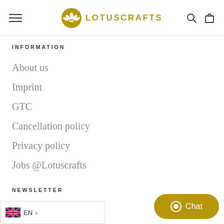LOTUSCRAFTS
INFORMATION
About us
Imprint
GTC
Cancellation policy
Privacy policy
Jobs @Lotuscrafts
NEWSLETTER
ee with us! For every newsletter registration we plant a tree. You will also receive